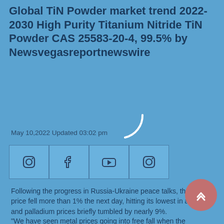Global TiN Powder market trend 2022-2030 High Purity Titanium Nitride TiN Powder CAS 25583-20-4, 99.5% by Newsvegasreportnewswire
May 10,2022 Updated 03:02 pm
[Figure (other): Social media icon bar with Instagram, Facebook, YouTube, and Instagram icons in bordered boxes on a blue background]
[Figure (other): Loading spinner arc (partial white circle arc) indicating page loading]
Following the progress in Russia-Ukraine peace talks, the gold price fell more than 1% the next day, hitting its lowest in a month, and palladium prices briefly tumbled by nearly 9%.
"We have seen metal prices going into free fall when the